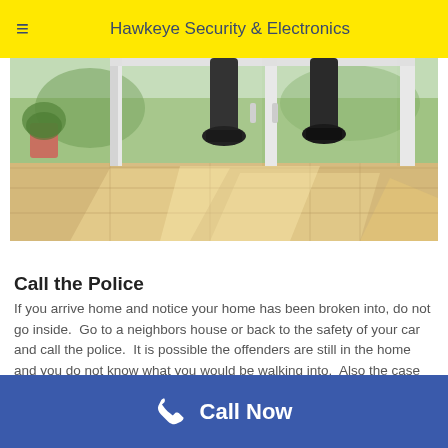Hawkeye Security & Electronics
[Figure (photo): Photo of a person's legs and shoes walking through a glass sliding door or patio door, viewed from inside a home. Indoor floor tiles visible with sunlight, plants visible outside.]
Call the Police
If you arrive home and notice your home has been broken into, do not go inside.  Go to a neighbors house or back to the safety of your car and call the police.  It is possible the offenders are still in the home and you do not know what you would be walking into.  Also the case against them is stronger if the police are able to catch them in action.
Call Now